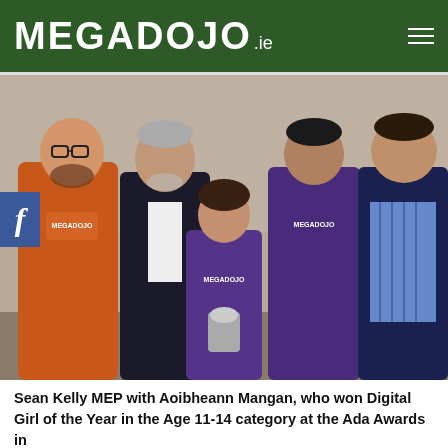MEGADOJO.ie
[Figure (photo): Group photo of five people posing together. From left: a man in an orange CoderDojo/MegaDojo t-shirt, a tall older man in a dark suit, a young girl in a purple MegaDojo t-shirt holding a trophy/award, a man in a purple CoderDojo/MegaDojo t-shirt, and a man in a blue striped shirt and dark blazer. A Facebook share icon overlay is visible on the left edge of the photo.]
Sean Kelly MEP with Aoibheann Mangan, who won Digital Girl of the Year in the Age 11-14 category at the Ada Awards in